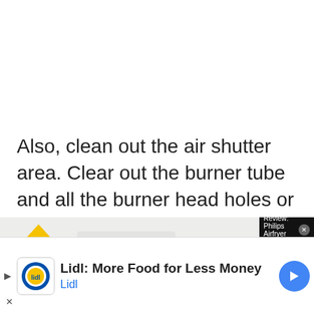Also, clean out the air shutter area. Clear out the burner tube and all the burner head holes or ports so flames are present completely around the entire burner. Some burners have ignition holes
[Figure (screenshot): Advertisement overlay showing a home improvement video with house icon and 'yourself .com' branding, partially overlapping the article text.]
[Figure (screenshot): Video player overlay with title 'Review: Philips Airfryer XXL' on black background with close button.]
[Figure (screenshot): Bottom banner advertisement for 'Lidl: More Food for Less Money' by Lidl, with Lidl logo and navigation arrow icon.]